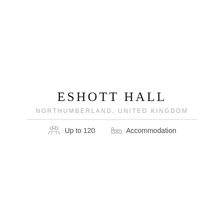ESHOTT HALL
NORTHUMBERLAND, UNITED KINGDOM
Up to 120   Accommodation